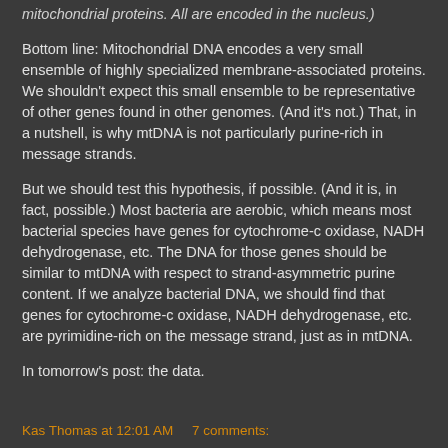mitochondrial proteins. All are encoded in the nucleus.)
Bottom line: Mitochondrial DNA encodes a very small ensemble of highly specialized membrane-associated proteins. We shouldn't expect this small ensemble to be representative of other genes found in other genomes. (And it's not.) That, in a nutshell, is why mtDNA is not particularly purine-rich in message strands.
But we should test this hypothesis, if possible. (And it is, in fact, possible.) Most bacteria are aerobic, which means most bacterial species have genes for cytochrome-c oxidase, NADH dehydrogenase, etc. The DNA for those genes should be similar to mtDNA with respect to strand-asymmetric purine content. If we analyze bacterial DNA, we should find that genes for cytochrome-c oxidase, NADH dehydrogenase, etc. are pyrimidine-rich on the message strand, just as in mtDNA.
In tomorrow's post: the data.
Kas Thomas at 12:01 AM    7 comments: